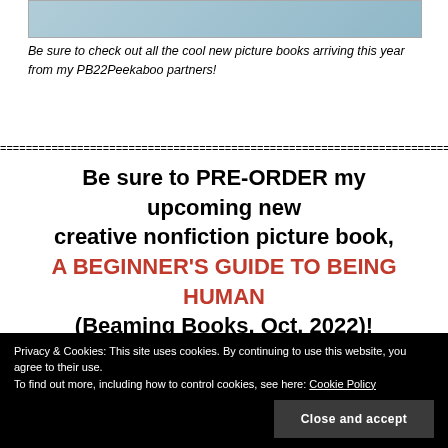[Figure (illustration): Top portion of a picture book cover with light blue/teal background, partially visible]
Be sure to check out all the cool new picture books arriving this year from my PB22Peekaboo partners!
=====================================================================================================
Be sure to PRE-ORDER my upcoming new creative nonfiction picture book, A BEGINNER'S GUIDE TO BEING HUMAN (Beaming Books, Oct. 2022)!
Privacy & Cookies: This site uses cookies. By continuing to use this website, you agree to their use. To find out more, including how to control cookies, see here: Cookie Policy
Close and accept